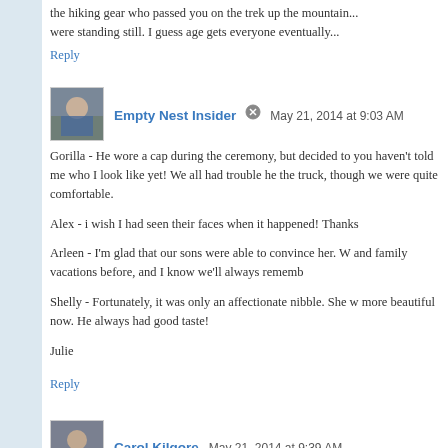the hiking gear who passed you on the trek up the mountain... were standing still. I guess age gets everyone eventually...
Reply
Empty Nest Insider  May 21, 2014 at 9:03 AM
Gorilla - He wore a cap during the ceremony, but decided to you haven't told me who I look like yet! We all had trouble he the truck, though we were quite comfortable.

Alex - i wish I had seen their faces when it happened! Thanks

Arleen - I'm glad that our sons were able to convince her. W and family vacations before, and I know we'll always rememb

Shelly - Fortunately, it was only an affectionate nibble. She w more beautiful now. He always had good taste!

Julie
Reply
Carol Kilgore  May 21, 2014 at 9:39 AM